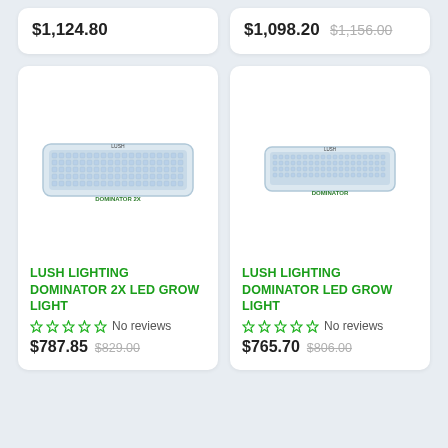$1,124.80
$1,098.20 $1,156.00
[Figure (photo): Lush Lighting Dominator 2X LED Grow Light panel, rectangular white fixture with LED array]
LUSH LIGHTING DOMINATOR 2X LED GROW LIGHT
No reviews
$787.85 $829.00
[Figure (photo): Lush Lighting Dominator LED Grow Light panel, rectangular white fixture with LED array]
LUSH LIGHTING DOMINATOR LED GROW LIGHT
No reviews
$765.70 $806.00